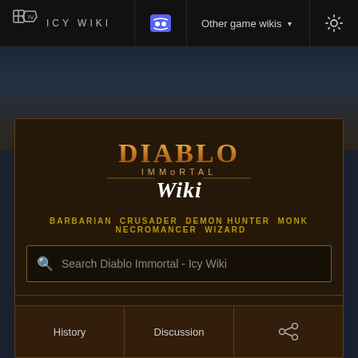ICY WIKI | Other game wikis | Settings
[Figure (logo): Diablo Immortal Wiki logo with stylized text]
BARBARIAN CRUSADER DEMON HUNTER MONK NECROMANCER WIZARD
Search Diablo Immortal - Icy Wiki
Wizard
History | Discussion | Share